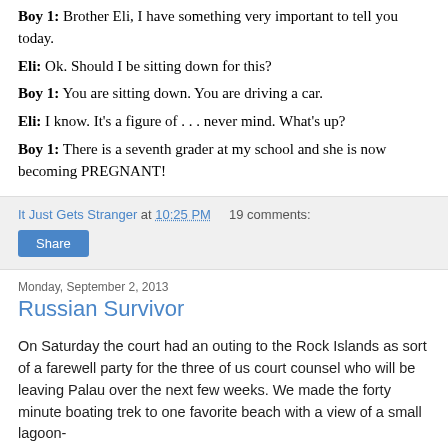Boy 1: Brother Eli, I have something very important to tell you today.
Eli: Ok. Should I be sitting down for this?
Boy 1: You are sitting down. You are driving a car.
Eli: I know. It's a figure of . . . never mind. What's up?
Boy 1: There is a seventh grader at my school and she is now becoming PREGNANT!
It Just Gets Stranger at 10:25 PM   19 comments:
Share
Monday, September 2, 2013
Russian Survivor
On Saturday the court had an outing to the Rock Islands as sort of a farewell party for the three of us court counsel who will be leaving Palau over the next few weeks. We made the forty minute boating trek to one favorite beach with a view of a small lagoon-